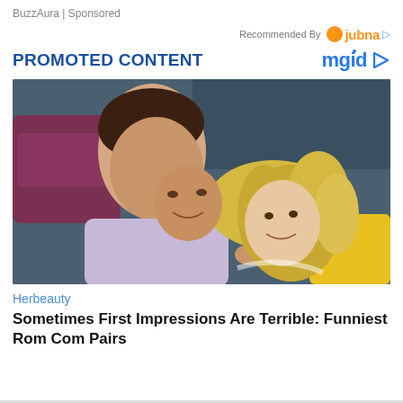BuzzAura | Sponsored
Recommended By jubna ▷
PROMOTED CONTENT
mgid ▷
[Figure (photo): A man and a woman looking at each other closely and smiling, romantic scene outdoors with cars in background]
Herbeauty
Sometimes First Impressions Are Terrible: Funniest Rom Com Pairs